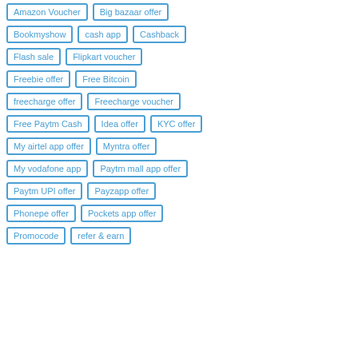Amazon Voucher
Big bazaar offer
Bookmyshow
cash app
Cashback
Flash sale
Flipkart voucher
Freebie offer
Free Bitcoin
freecharge offer
Freecharge voucher
Free Paytm Cash
Idea offer
KYC offer
My airtel app offer
Myntra offer
My vodafone app
Paytm mall app offer
Paytm UPI offer
Payzapp offer
Phonepe offer
Pockets app offer
Promocode
refer & earn